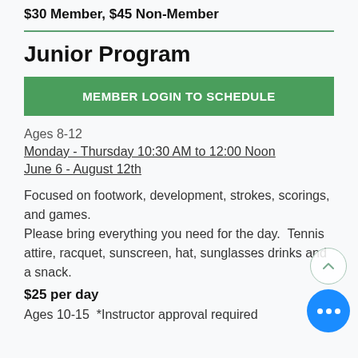$30 Member, $45 Non-Member
Junior Program
MEMBER LOGIN TO SCHEDULE
Ages 8-12
Monday - Thursday 10:30 AM to 12:00 Noon
June 6 - August 12th
Focused on footwork, development, strokes, scorings, and games. Please bring everything you need for the day. Tennis attire, racquet, sunscreen, hat, sunglasses drinks and a snack.
$25 per day
Ages 10-15 *Instructor approval required